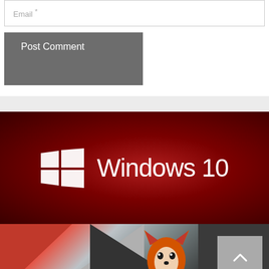Email *
Post Comment
[Figure (screenshot): Windows 10 logo on a dark red radial gradient background. White Windows logo icon on the left and 'Windows 10' text in white on the right.]
[Figure (illustration): Bottom preview thumbnails: left shows a geometric illustration with red, gray and dark triangles with a fox character, right shows a gray scroll-to-top button with an up chevron arrow.]